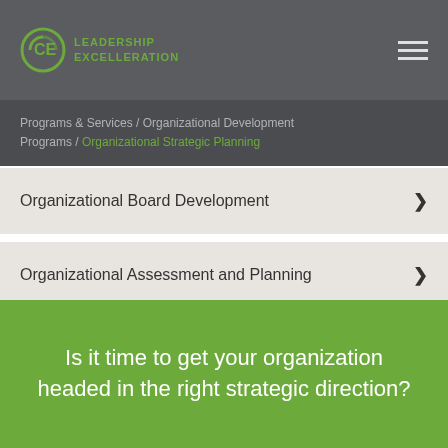LEADERSHIP EXCELLERATION
Programs & Services / Organizational Development Programs / Organizational Strategic Planning
Organizational Board Development
Organizational Assessment and Planning
Is it time to get your organization headed in the right strategic direction?